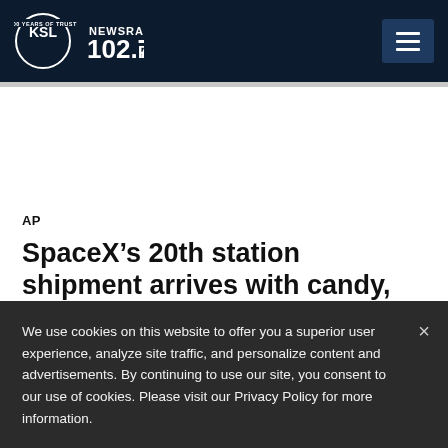[Figure (logo): KSL NewsRadio 102.7FM logo — white circle with KSL text and 102.7FM, '100 Years of Trust' banner]
AP
SpaceX’s 20th station shipment arrives with candy, science
We use cookies on this website to offer you a superior user experience, analyze site traffic, and personalize content and advertisements. By continuing to use our site, you consent to our use of cookies. Please visit our Privacy Policy for more information.